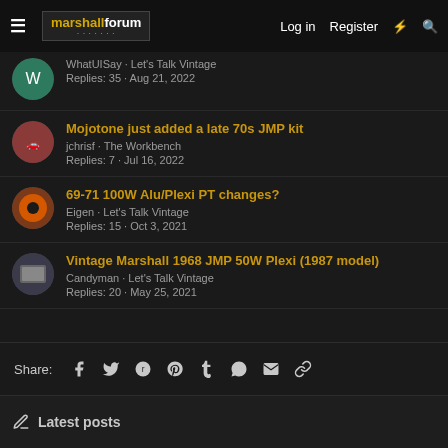marshallforum — Log in  Register
WhatUISay · Let's Talk Vintage
Replies: 35 · Aug 21, 2022
Mojotone just added a late 70s JMP kit
jchrisf · The Workbench
Replies: 7 · Jul 16, 2022
69-71 100W Alu/Plexi PT changes?
Eigen · Let's Talk Vintage
Replies: 15 · Oct 3, 2021
Vintage Marshall 1968 JMP 50W Plexi (1987 model)
Candyman · Let's Talk Vintage
Replies: 20 · May 25, 2021
Share:
Latest posts